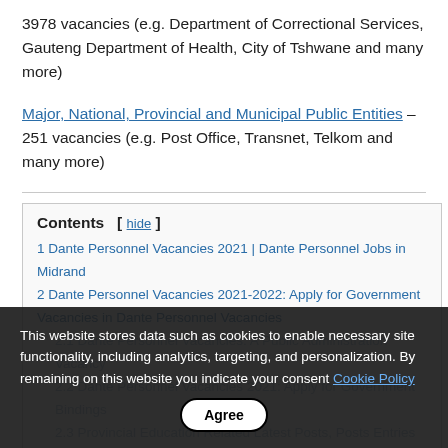3978 vacancies (e.g. Department of Correctional Services, Gauteng Department of Health, City of Tshwane and many more)
Major, National, Provincial and Municipal Public Entities – 251 vacancies (e.g. Post Office, Transnet, Telkom and many more)
Contents  [ hide ]
1 Dante Personnel Vacancies 2021 | Dante Personnel Jobs in Midrand
2 Dante Personnel Vacancies 2021-2022: Apply for Government Vacancies in Dante Personnel Vacancies
2.1 Dante Personnel Vacancies: A Public Administration Vacancy
2.2 Dante Personnel Vacancies 2021: Apply for Government Bindings
2.3 Provincial Education Related Latest Posts, Posts Entries 2021
2.4 Job Description
This website stores data such as cookies to enable necessary site functionality, including analytics, targeting, and personalization. By remaining on this website you indicate your consent Cookie Policy